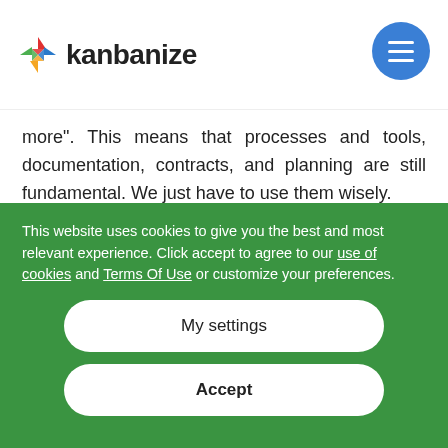kanbanize
more". This means that processes and tools, documentation, contracts, and planning are still fundamental. We just have to use them wisely.
What are the 12 principles of Agile?
The highest priority is to satisfy the customer
This website uses cookies to give you the best and most relevant experience. Click accept to agree to our use of cookies and Terms Of Use or customize your preferences.
My settings
Accept